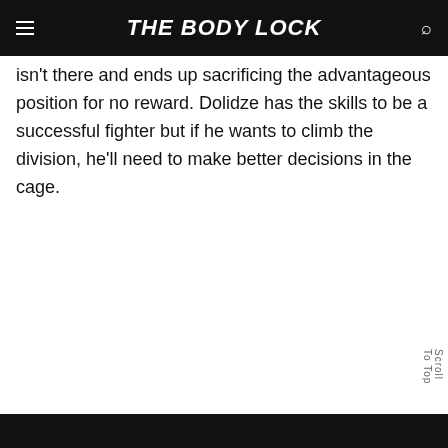THE BODY LOCK
isn't there and ends up sacrificing the advantageous position for no reward. Dolidze has the skills to be a successful fighter but if he wants to climb the division, he'll need to make better decisions in the cage.